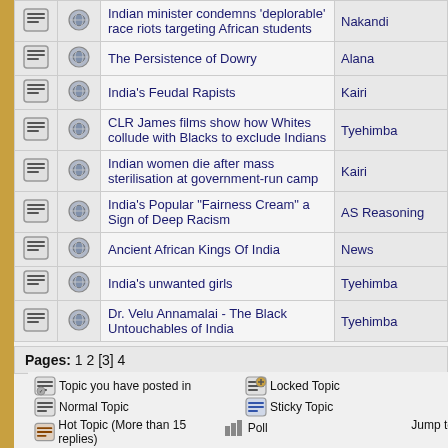|  |  | Topic | Author |
| --- | --- | --- | --- |
| [icon] | [icon] | Indian minister condemns 'deplorable' race riots targeting African students | Nakandi |
| [icon] | [icon] | The Persistence of Dowry | Alana |
| [icon] | [icon] | India's Feudal Rapists | Kairi |
| [icon] | [icon] | CLR James films show how Whites collude with Blacks to exclude Indians | Tyehimba |
| [icon] | [icon] | Indian women die after mass sterilisation at government-run camp | Kairi |
| [icon] | [icon] | India's Popular "Fairness Cream" a Sign of Deep Racism | AS Reasoning |
| [icon] | [icon] | Ancient African Kings Of India | News |
| [icon] | [icon] | India's unwanted girls | Tyehimba |
| [icon] | [icon] | Dr. Velu Annamalai - The Black Untouchables of India | Tyehimba |
Pages: 1 2 [3] 4
Topic you have posted in
Locked Topic
Normal Topic
Sticky Topic
Hot Topic (More than 15 replies)
Poll
Jump to